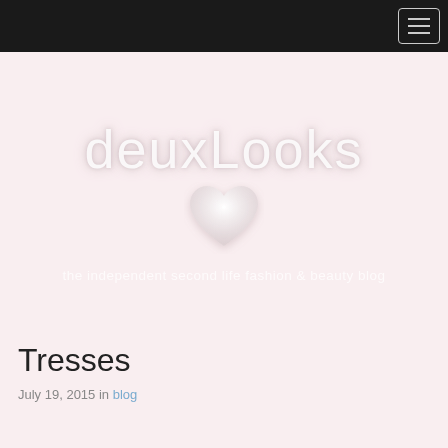[Figure (logo): DeuxLooks blog logo: stylized text 'deuxLooks' in white/light color on pink background with a white heart icon below, and tagline 'the independent second life fashion & beauty blog']
Tresses
July 19, 2015 in blog